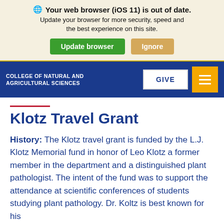Your web browser (iOS 11) is out of date. Update your browser for more security, speed and the best experience on this site. Update browser | Ignore
COLLEGE OF NATURAL AND AGRICULTURAL SCIENCES | GIVE
Klotz Travel Grant
History: The Klotz travel grant is funded by the L.J. Klotz Memorial fund in honor of Leo Klotz a former member in the department and a distinguished plant pathologist. The intent of the fund was to support the attendance at scientific conferences of students studying plant pathology. Dr. Koltz is best known for his